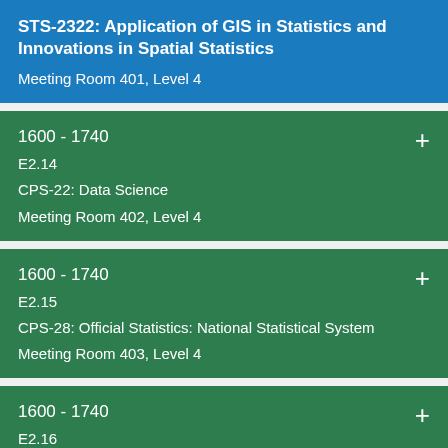STS-2322: Application of GIS in Statistics and Innovations in Spatial Statistics
Meeting Room 401, Level 4
1600 - 1740
E2.14
CPS-22: Data Science
Meeting Room 402, Level 4
1600 - 1740
E2.15
CPS-28: Official Statistics: National Statistical System
Meeting Room 403, Level 4
1600 - 1740
E2.16
CPS-48: Spatial Analysis